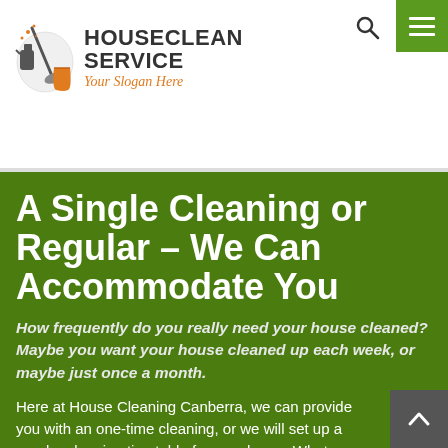[Figure (logo): HouseClean Service logo with cleaning equipment icon, bold dark text 'HOUSECLEAN SERVICE' and italic orange slogan 'Your Slogan Here']
A Single Cleaning or Regular – We Can Accommodate You
How frequently do you really need your house cleaned? Maybe you want your house cleaned up each week, or maybe just once a month.
Here at House Cleaning Canberra, we can provide you with an one-time cleaning, or we will set up a regular cleaning timetable for your home. Whatever your wants